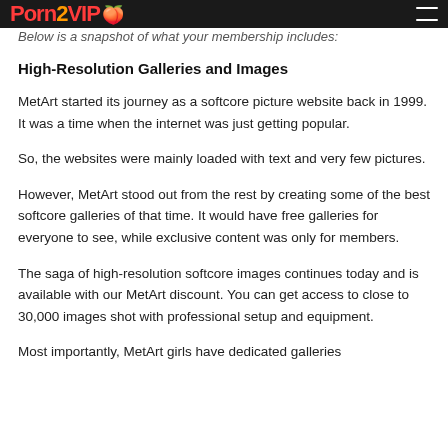PornVIP [icon] — header bar
Below is a snapshot of what your membership includes:
High-Resolution Galleries and Images
MetArt started its journey as a softcore picture website back in 1999. It was a time when the internet was just getting popular.
So, the websites were mainly loaded with text and very few pictures.
However, MetArt stood out from the rest by creating some of the best softcore galleries of that time. It would have free galleries for everyone to see, while exclusive content was only for members.
The saga of high-resolution softcore images continues today and is available with our MetArt discount. You can get access to close to 30,000 images shot with professional setup and equipment.
Most importantly, MetArt girls have dedicated galleries